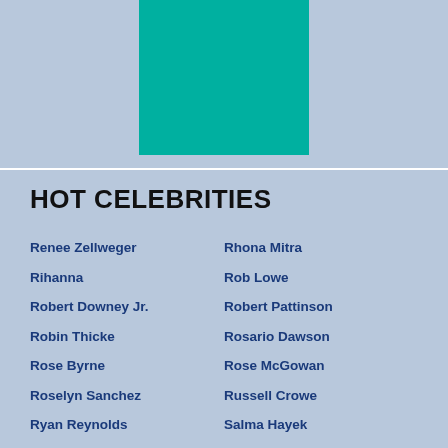[Figure (illustration): Teal/cyan colored rectangle on a light blue background]
HOT CELEBRITIES
Renee Zellweger
Rhona Mitra
Rihanna
Rob Lowe
Robert Downey Jr.
Robert Pattinson
Robin Thicke
Rosario Dawson
Rose Byrne
Rose McGowan
Roselyn Sanchez
Russell Crowe
Ryan Reynolds
Salma Hayek
Sanaa Lathan
Sandra Bullock
Sara Paxton
Sarah Jessica Parker